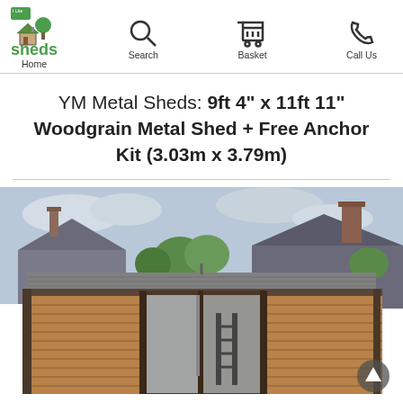iLike sheds — Home | Search | Basket | Call Us
YM Metal Sheds: 9ft 4" x 11ft 11" Woodgrain Metal Shed + Free Anchor Kit (3.03m x 3.79m)
[Figure (photo): Photograph of a woodgrain metal shed with brown horizontal panels and a flat/pitched roof, seen from the front with double doors open, set in a residential garden with houses and trees in the background.]